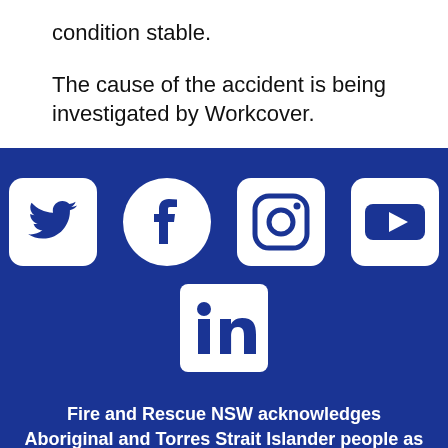condition stable.
The cause of the accident is being investigated by Workcover.
[Figure (infographic): Social media icons: Twitter, Facebook, Instagram, YouTube (top row), LinkedIn (bottom row), on dark blue background.]
Fire and Rescue NSW acknowledges Aboriginal and Torres Strait Islander people as the Traditional Custodians of the land and acknowledges and pays